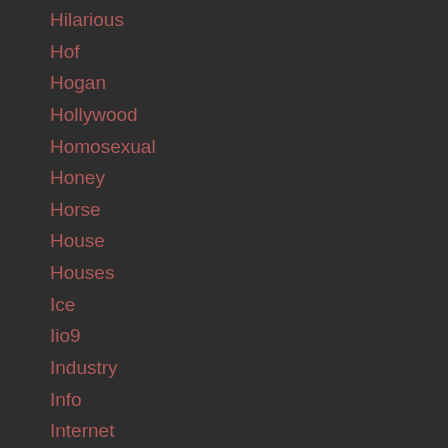Hilarious
Hof
Hogan
Hollywood
Homosexual
Honey
Horse
House
Houses
Ice
Iio9
Industry
Info
Internet
Io9
Io9.com
Iphone
It
Ivan Temelkov
J